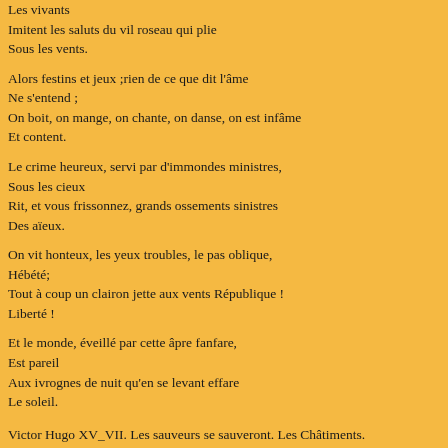Les vivants
Imitent les saluts du vil roseau qui plie
Sous les vents.
Alors festins et jeux ;rien de ce que dit l'âme
Ne s'entend ;
On boit, on mange, on chante, on danse, on est infâme
Et content.
Le crime heureux, servi par d'immondes ministres,
Sous les cieux
Rit, et vous frissonnez, grands ossements sinistres
Des aïeux.
On vit honteux, les yeux troubles, le pas oblique,
Hébété;
Tout à coup un clairon jette aux vents République !
Liberté !
Et le monde, éveillé par cette âpre fanfare,
Est pareil
Aux ivrognes de nuit qu'en se levant effare
Le soleil.
Victor Hugo XV_VII. Les sauveurs se sauveront. Les Châtiments.
Tadeg était une elfe des neiges. Elle avait de très grands yeux bleus, une chev celle dont on peut voir à travers ), sa peau blanche était très fragile. Elle éta